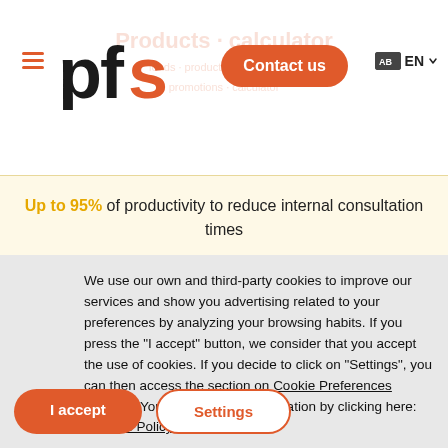[Figure (logo): PFS logo - stylized 'pfs' text in black with orange 's' accent]
Contact us
EN
Products · calculator · leads · product info · promotions
Up to 95% of productivity to reduce internal consultation times
We use our own and third-party cookies to improve our services and show you advertising related to your preferences by analyzing your browsing habits. If you press the "I accept" button, we consider that you accept the use of cookies. If you decide to click on "Settings", you can then access the section on Cookie Preferences Settings. You can get more information by clicking here: Cookies Policy.
I accept
Settings